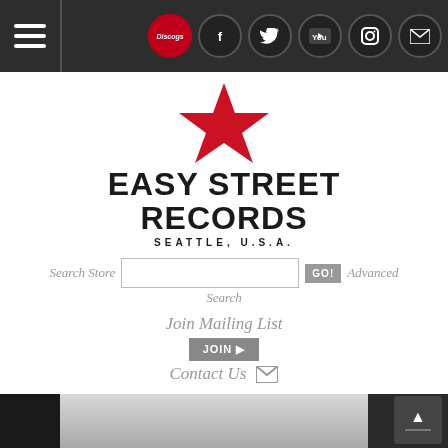Navigation bar with hamburger menu and social icons: Discogs, Facebook, Twitter, YouTube, Instagram, Email
[Figure (logo): Easy Street Records logo with red star above bold text 'EASY STREET RECORDS' and 'SEATTLE, U.S.A.' below]
Search Store   [input field]   GO!   Advanced Search
Join Mailing List   JOIN →
Contact Us ✉
[Figure (photo): Black and white photo of a person jumping or leaping outdoors near a building]